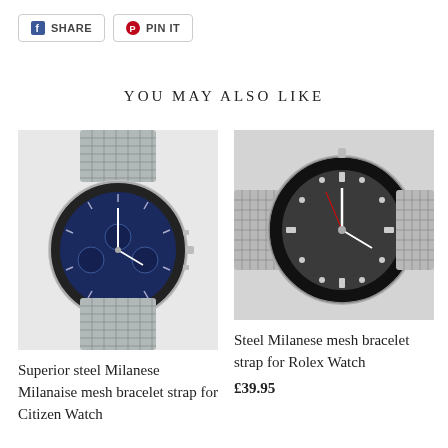[Figure (other): Facebook Share button with f icon]
[Figure (other): Pinterest Pin It button with P icon]
YOU MAY ALSO LIKE
[Figure (photo): Silver Citizen chronograph watch with blue dial and steel Milanese mesh bracelet]
Superior steel Milanese Milanaise mesh bracelet strap for Citizen Watch
[Figure (photo): Rolex style watch with dark dial and steel Milanese mesh bracelet strap]
Steel Milanese mesh bracelet strap for Rolex Watch
£39.95